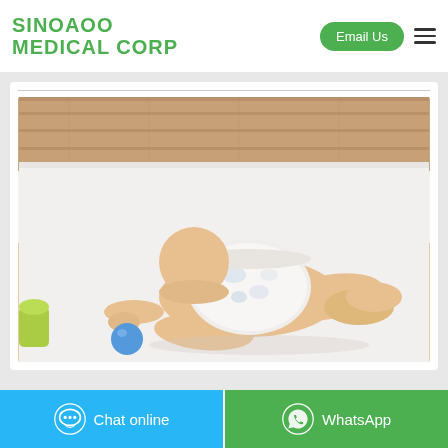SINOAOO MEDICAL CORP
[Figure (photo): Baby lying face-down on a white fluffy rug on a wooden floor, wearing a white patterned diaper, with a blue ball nearby and a yellow-green toy visible at the left edge.]
Chat online
WhatsApp